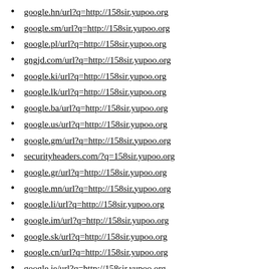google.hn/url?q=http://158sir.yupoo.org
google.sm/url?q=http://158sir.yupoo.org
google.pl/url?q=http://158sir.yupoo.org
gngjd.com/url?q=http://158sir.yupoo.org
google.ki/url?q=http://158sir.yupoo.org
google.lk/url?q=http://158sir.yupoo.org
google.ba/url?q=http://158sir.yupoo.org
google.us/url?q=http://158sir.yupoo.org
google.gm/url?q=http://158sir.yupoo.org
securityheaders.com/?q=158sir.yupoo.org
google.gr/url?q=http://158sir.yupoo.org
google.mn/url?q=http://158sir.yupoo.org
google.li/url?q=http://158sir.yupoo.org
google.im/url?q=http://158sir.yupoo.org
google.sk/url?q=http://158sir.yupoo.org
google.cn/url?q=http://158sir.yupoo.org
google.je/url?q=http://158sir.yupoo.org
google.to/url?q=http://158sir.yupoo.org
google.me/url?q=http://158sir.yupoo.org